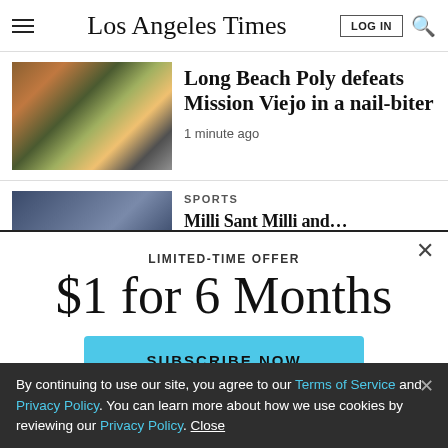Los Angeles Times
Long Beach Poly defeats Mission Viejo in a nail-biter
1 minute ago
SPORTS
[Figure (screenshot): Football game action photo showing players in green and white uniforms]
[Figure (photo): Sports crowd/players photo for second article]
LIMITED-TIME OFFER
$1 for 6 Months
SUBSCRIBE NOW
By continuing to use our site, you agree to our Terms of Service and Privacy Policy. You can learn more about how we use cookies by reviewing our Privacy Policy. Close